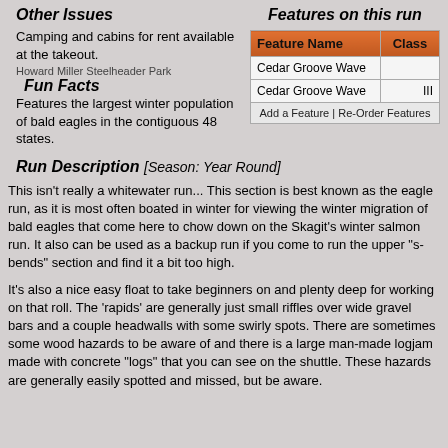Other Issues
Features on this run
Camping and cabins for rent available at the takeout.
Howard Miller Steelheader Park
| Feature Name | Class |
| --- | --- |
| Cedar Groove Wave |  |
| Cedar Groove Wave | III |
Add a Feature | Re-Order Features
Fun Facts
Features the largest winter population of bald eagles in the contiguous 48 states.
Run Description [Season: Year Round]
This isn't really a whitewater run... This section is best known as the eagle run, as it is most often boated in winter for viewing the winter migration of bald eagles that come here to chow down on the Skagit's winter salmon run. It also can be used as a backup run if you come to run the upper "s-bends" section and find it a bit too high.
It's also a nice easy float to take beginners on and plenty deep for working on that roll. The 'rapids' are generally just small riffles over wide gravel bars and a couple headwalls with some swirly spots. There are sometimes some wood hazards to be aware of and there is a large man-made logjam made with concrete "logs" that you can see on the shuttle. These hazards are generally easily spotted and missed, but be aware.